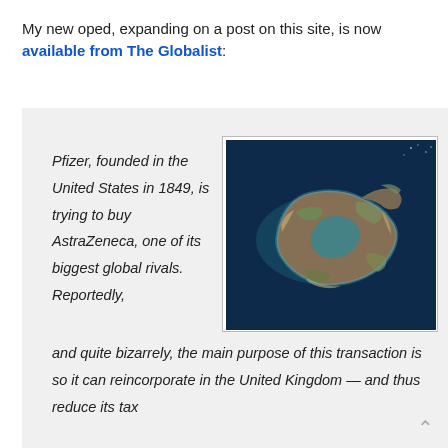My new oped, expanding on a post on this site, is now available from The Globalist:
[Figure (photo): Aerial/satellite photograph of a small island surrounded by deep blue ocean water, viewed from above. The island has a brown/tan landmass with some green vegetation and appears to have a lagoon or shallow water area.]
Pfizer, founded in the United States in 1849, is trying to buy AstraZeneca, one of its biggest global rivals. Reportedly, and quite bizarrely, the main purpose of this transaction is so it can reincorporate in the United Kingdom — and thus reduce its tax